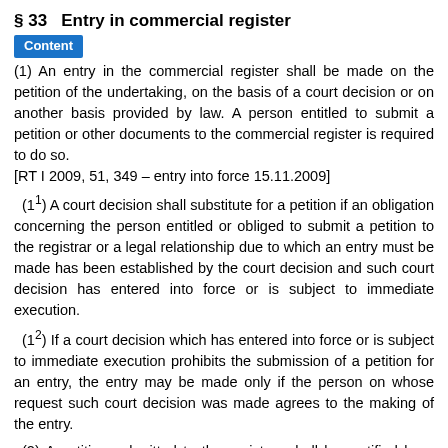§ 33 Entry in commercial register
(1) An entry in the commercial register shall be made on the petition of the undertaking, on the basis of a court decision or on another basis provided by law. A person entitled to submit a petition or other documents to the commercial register is required to do so.
[RT I 2009, 51, 349 – entry into force 15.11.2009]
(1¹) A court decision shall substitute for a petition if an obligation concerning the person entitled or obliged to submit a petition to the registrar or a legal relationship due to which an entry must be made has been established by the court decision and such court decision has entered into force or is subject to immediate execution.
(1²) If a court decision which has entered into force or is subject to immediate execution prohibits the submission of a petition for an entry, the entry may be made only if the person on whose request such court decision was made agrees to the making of the entry.
(2) A petition submitted to the registrar shall be certified by a notary. Certification by a notary may substituted by certification of the signatures on the petition by an official of a foreign state who...